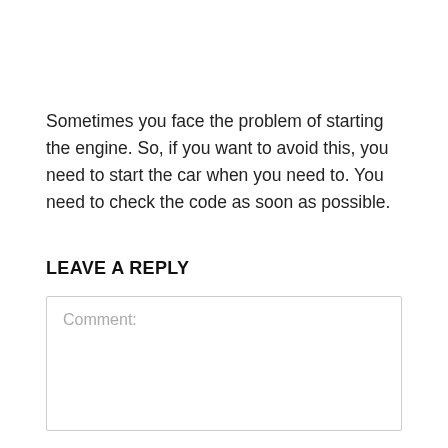Sometimes you face the problem of starting the engine. So, if you want to avoid this, you need to start the car when you need to. You need to check the code as soon as possible.
LEAVE A REPLY